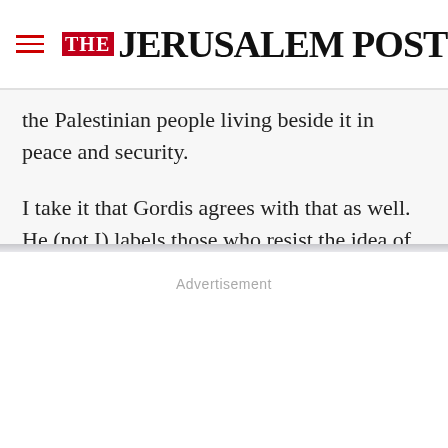THE JERUSALEM POST
the Palestinian people living beside it in peace and security.
I take it that Gordis agrees with that as well. He (not I) labels those who resist the idea of a Palestinian State “morally obtuse.”
Advertisement